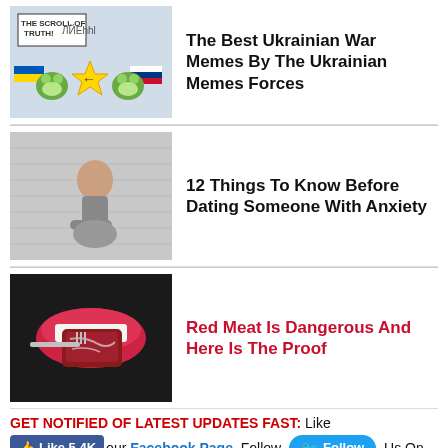[Figure (illustration): Cartoon meme illustration showing scroll-reading characters with Ukrainian and Russian flags]
The Best Ukrainian War Memes By The Ukrainian Memes Forces
[Figure (photo): Person hunched against a wall looking distressed, being comforted]
12 Things To Know Before Dating Someone With Anxiety
[Figure (photo): Close-up of a mouth eating a piece of red meat on a fork]
Red Meat Is Dangerous And Here Is The Proof
GET NOTIFIED OF LATEST UPDATES FAST: Like [Like 5.4K] our Facebook Page, Follow [Follow] Us On Twitter, Follow Us on Google+. Thanks, Please Share This Post Below.